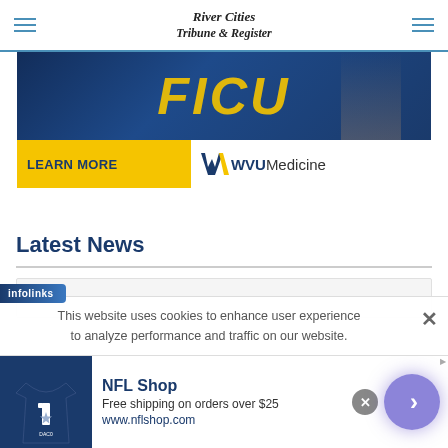River Cities Tribune & Register
[Figure (photo): WVU Medicine advertisement banner showing 'LEARN MORE' with WVU Medicine logo on gold/blue background]
Latest News
This website uses cookies to enhance user experience to analyze performance and traffic on our website.
[Figure (screenshot): Infolinks labeled ad bar at bottom showing NFL Shop advertisement: 'Free shipping on orders over $25, www.nflshop.com' with Dallas Cowboys jersey image and navigation arrow button]